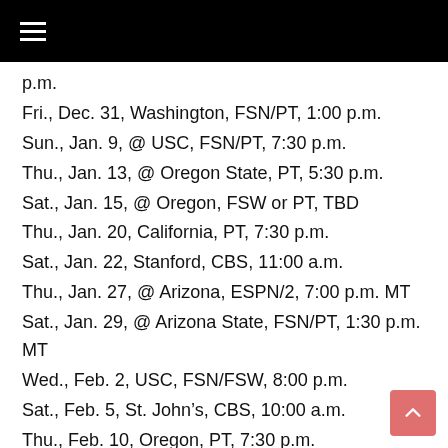p.m.
Fri., Dec. 31, Washington, FSN/PT, 1:00 p.m.
Sun., Jan. 9, @ USC, FSN/PT, 7:30 p.m.
Thu., Jan. 13, @ Oregon State, PT, 5:30 p.m.
Sat., Jan. 15, @ Oregon, FSW or PT, TBD
Thu., Jan. 20, California, PT, 7:30 p.m.
Sat., Jan. 22, Stanford, CBS, 11:00 a.m.
Thu., Jan. 27, @ Arizona, ESPN/2, 7:00 p.m. MT
Sat., Jan. 29, @ Arizona State, FSN/PT, 1:30 p.m. MT
Wed., Feb. 2, USC, FSN/FSW, 8:00 p.m.
Sat., Feb. 5, St. John’s, CBS, 10:00 a.m.
Thu., Feb. 10, Oregon, PT, 7:30 p.m.
Sat., Feb. 12, Oregon State, FSN/PT, 1:00 p.m.